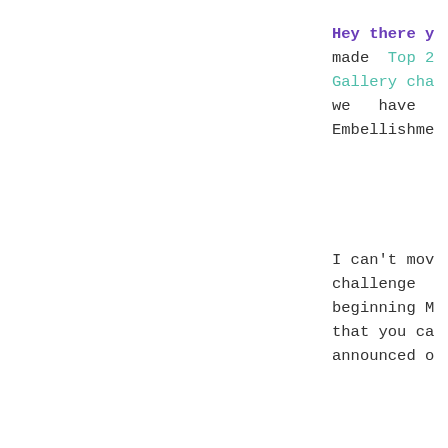Hey there y made Top 2 Gallery cha we have Embellishme
I can't mov challenge beginning M that you ca announced o